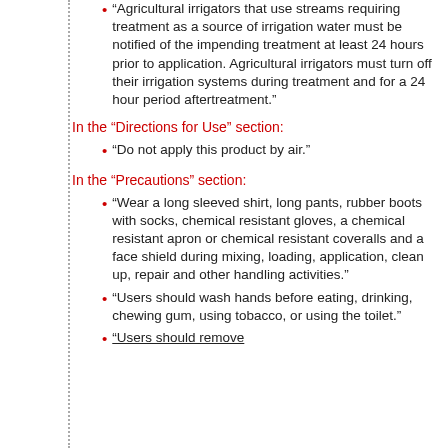"Agricultural irrigators that use streams requiring treatment as a source of irrigation water must be notified of the impending treatment at least 24 hours prior to application. Agricultural irrigators must turn off their irrigation systems during treatment and for a 24 hour period aftertreatment."
In the “Directions for Use” section:
"Do not apply this product by air."
In the “Precautions” section:
"Wear a long sleeved shirt, long pants, rubber boots with socks, chemical resistant gloves, a chemical resistant apron or chemical resistant coveralls and a face shield during mixing, loading, application, clean up, repair and other handling activities."
"Users should wash hands before eating, drinking, chewing gum, using tobacco, or using the toilet."
"[text continues below]"